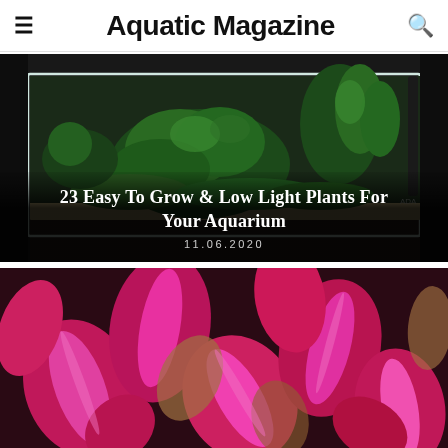Aquatic Magazine
[Figure (photo): Planted aquarium with green aquatic plants arranged in a glass tank against a dark background. Small 'ADA' watermark in lower right corner.]
23 Easy To Grow & Low Light Plants For Your Aquarium
11.06.2020
[Figure (photo): Close-up of bright pink and magenta aquatic plants (likely alternanthera or similar red aquatic plant) with visible leaf texture.]